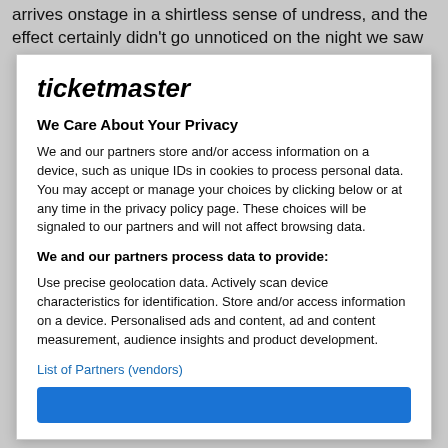arrives onstage in a shirtless sense of undress, and the effect certainly didn't go unnoticed on the night we saw
[Figure (screenshot): Ticketmaster privacy consent modal overlay with logo, privacy notice text, and list of partners link]
ticketmaster
We Care About Your Privacy
We and our partners store and/or access information on a device, such as unique IDs in cookies to process personal data. You may accept or manage your choices by clicking below or at any time in the privacy policy page. These choices will be signaled to our partners and will not affect browsing data.
We and our partners process data to provide:
Use precise geolocation data. Actively scan device characteristics for identification. Store and/or access information on a device. Personalised ads and content, ad and content measurement, audience insights and product development.
List of Partners (vendors)